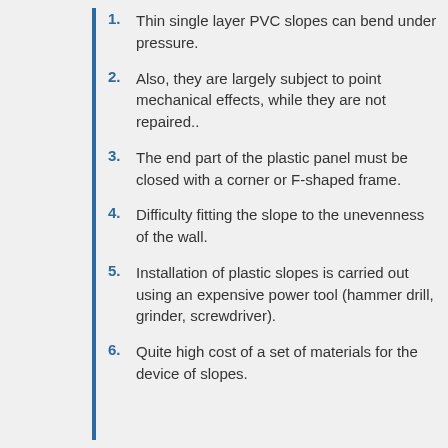1. Thin single layer PVC slopes can bend under pressure.
2. Also, they are largely subject to point mechanical effects, while they are not repaired..
3. The end part of the plastic panel must be closed with a corner or F-shaped frame.
4. Difficulty fitting the slope to the unevenness of the wall.
5. Installation of plastic slopes is carried out using an expensive power tool (hammer drill, grinder, screwdriver).
6. Quite high cost of a set of materials for the device of slopes.